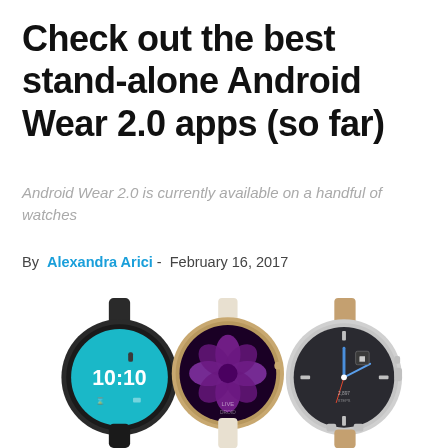Check out the best stand-alone Android Wear 2.0 apps (so far)
Android Wear 2.0 is currently available on a handful of watches
By Alexandra Arici - February 16, 2017
[Figure (photo): Three Android Wear smartwatches displayed side by side: a dark grey watch showing 10:10 on a teal background, a gold watch with a purple flower face, and a silver watch with a dark traditional clock face and tan leather band.]